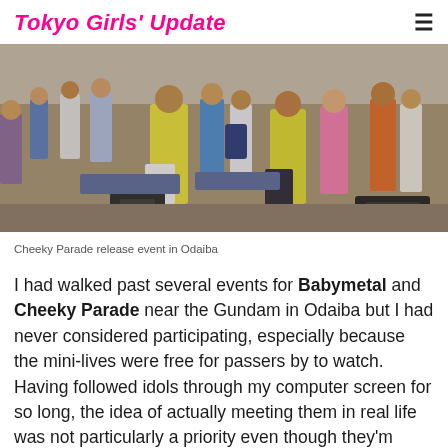Tokyo Girls' Update
[Figure (photo): Crowd scene at a Cheeky Parade release event in Odaiba, with performers in yellow shirts visible from behind, surrounded by fans.]
Cheeky Parade release event in Odaiba
I had walked past several events for Babymetal and Cheeky Parade near the Gundam in Odaiba but I had never considered participating, especially because the mini-lives were free for passers by to watch. Having followed idols through my computer screen for so long, the idea of actually meeting them in real life was not particularly a priority even though they'm